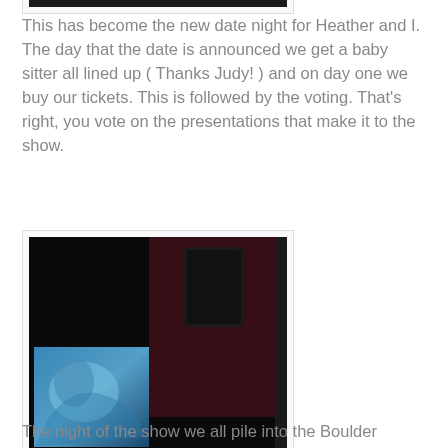[Figure (photo): Wide shot of a theater audience in the dark with a lit stage and projection screen at the front]
This has become the new date night for Heather and I. The day that the date is announced we get a baby sitter all lined up ( Thanks Judy! ) and on day one we buy our tickets. This is followed by the voting. That's right, you vote on the presentations that make it to the show.
[Figure (photo): Dark photo of an audience at a show, with a blue-tinted projection screen visible on the left and silhouettes of people in foreground]
The night of the show we all pile into the Boulder Theater